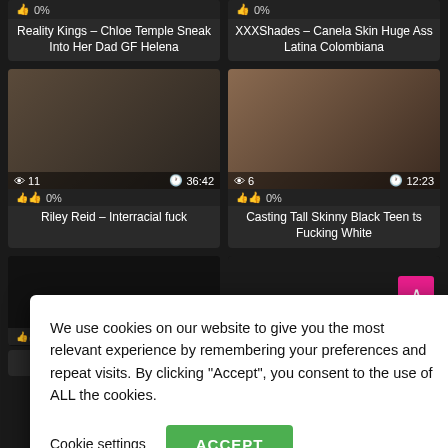0%
0%
Reality Kings – Chloe Temple Sneak Into Her Dad GF Helena
XXXShades – Canela Skin Huge Ass Latina Colombiana
[Figure (photo): Video thumbnail showing interracial scene, views: 11, duration: 36:42]
[Figure (photo): Video thumbnail showing scene, views: 6, duration: 12:23]
0%
0%
Riley Reid – Interracial fuck
Casting Tall Skinny Black Teen ts Fucking White
We use cookies on our website to give you the most relevant experience by remembering your preferences and repeat visits. By clicking "Accept", you consent to the use of ALL the cookies.
Cookie settings
ACCEPT
[Figure (photo): Dark video thumbnail, duration partially visible :08]
0%
Alexis Fawx Gets Fucked by
Teeny Tiny Sister's Sexual